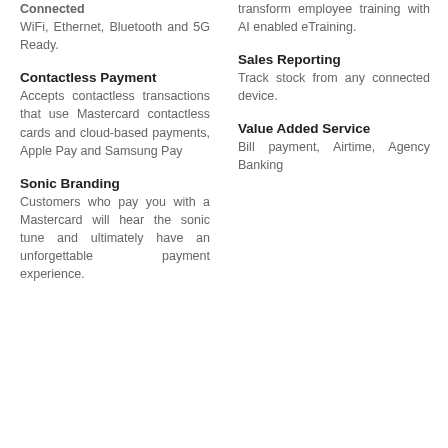Connected
WiFi, Ethernet, Bluetooth and 5G Ready.
Contactless Payment
Accepts contactless transactions that use Mastercard contactless cards and cloud-based payments, Apple Pay and Samsung Pay
Sonic Branding
Customers who pay you with a Mastercard will hear the sonic tune and ultimately have an unforgettable payment experience.
transform employee training with AI enabled eTraining.
Sales Reporting
Track stock from any connected device.
Value Added Service
Bill payment, Airtime, Agency Banking